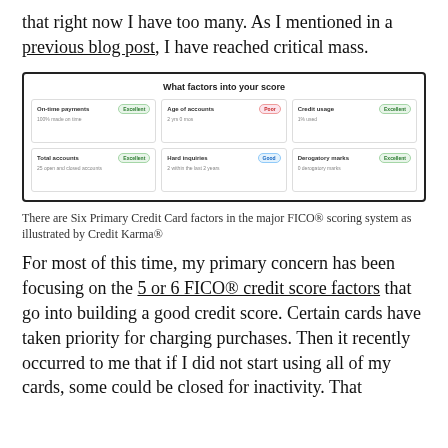that right now I have too many. As I mentioned in a previous blog post, I have reached critical mass.
[Figure (screenshot): Credit Karma screenshot showing 'What factors into your score' with six factor cells: On-time payments (Excellent), Age of accounts (Poor), Credit usage (Excellent), Total accounts (Excellent), Hard inquiries (Good), Derogatory marks (Excellent)]
There are Six Primary Credit Card factors in the major FICO® scoring system as illustrated by Credit Karma®
For most of this time, my primary concern has been focusing on the 5 or 6 FICO® credit score factors that go into building a good credit score. Certain cards have taken priority for charging purchases. Then it recently occurred to me that if I did not start using all of my cards, some could be closed for inactivity. That